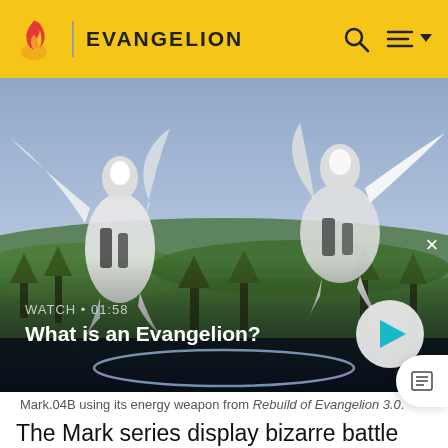EVANGELION
[Figure (screenshot): Anime screenshot from Rebuild of Evangelion 3.0 showing Mark.04B units with white wings in a landscape setting. Video player overlay showing WATCH • 01:58 and title 'What is an Evangelion?' with a play button.]
Mark.04B using its energy weapon from Rebuild of Evangelion 3.0.
The Mark series display bizarre battle features compared to the standard Evangelion units. These units no longer